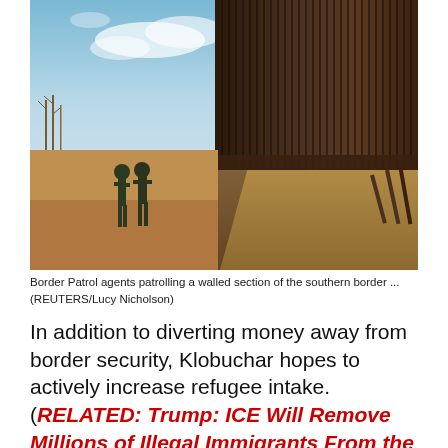[Figure (photo): Two Border Patrol agents in uniform standing on a dirt road beside a tall vertical metal border wall extending into the distance, with dry scrubland and a blue sky in the background.]
Border Patrol agents patrolling a walled section of the southern border ...
(REUTERS/Lucy Nicholson)
In addition to diverting money away from border security, Klobuchar hopes to actively increase refugee intake. (RELATED: Trump: ICE Will Remove Millions of Illegal Immigrants From the US)